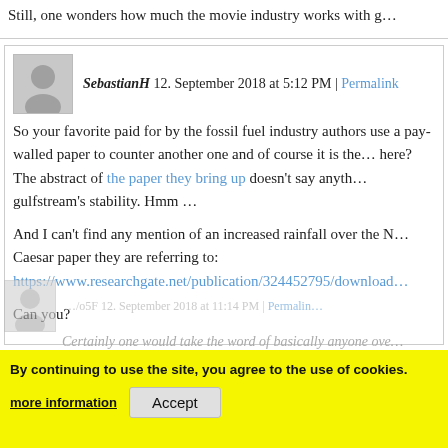Still, one wonders how much the movie industry works with g...
SebastianH 12. September 2018 at 5:12 PM | Permalink
So your favorite paid for by the fossil fuel industry authors use a pay-walled paper to counter another one and of course it is the... here? The abstract of the paper they bring up doesn't say anyth... gulfstream's stability. Hmm …
And I can't find any mention of an increased rainfall over the N... Caesar paper they are referring to:
https://www.researchgate.net/publication/324452795/download...
Can you?
By continuing to use the site, you agree to the use of cookies.
more information
Accept
Certainly one would take the word of basically anyone ove...
non-science that oozes out of Potsdam.